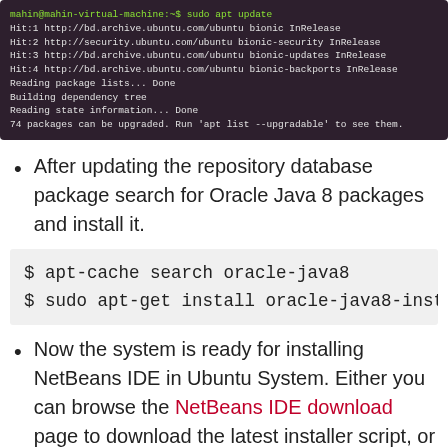[Figure (screenshot): Terminal window showing sudo apt update command output on Ubuntu with green prompt text and white output lines on dark purple background]
After updating the repository database package search for Oracle Java 8 packages and install it.
$ apt-cache search oracle-java8
$ sudo apt-get install oracle-java8-insta
Now the system is ready for installing NetBeans IDE in Ubuntu System. Either you can browse the NetBeans IDE download page to download the latest installer script, or you can simply run the command below: